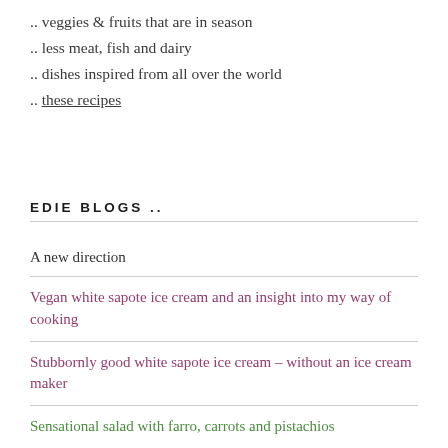.. veggies & fruits that are in season
.. less meat, fish and dairy
.. dishes inspired from all over the world
.. these recipes
EDIE BLOGS ..
A new direction
Vegan white sapote ice cream and an insight into my way of cooking
Stubbornly good white sapote ice cream – without an ice cream maker
Sensational salad with farro, carrots and pistachios
Pumpkin Bread with Sweetened Condensed Milk